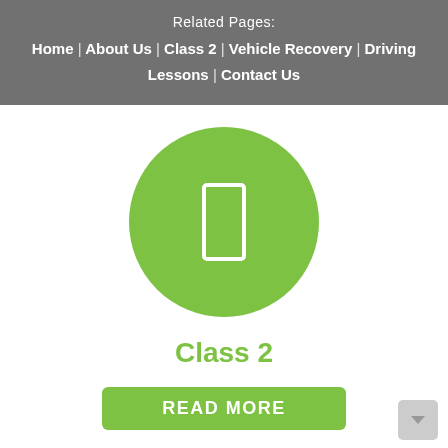Related Pages:
Home | About Us | Class 2 | Vehicle Recovery | Driving Lessons | Contact Us
[Figure (illustration): Green circle with a white outlined rectangle (door/mobile icon) in the center]
Class 2
READ MORE